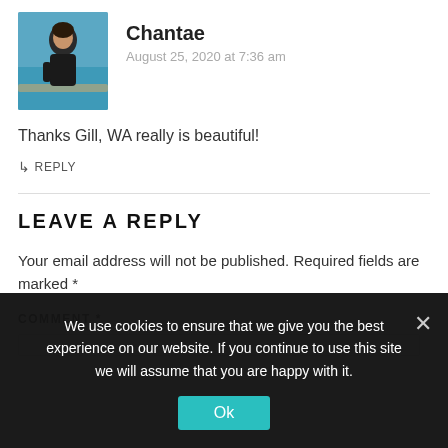[Figure (photo): Profile photo of Chantae, a person on a boat with turquoise water in the background, wearing a black top.]
Chantae
August 25, 2020 at 7:36 am
Thanks Gill, WA really is beautiful!
↳ REPLY
LEAVE A REPLY
Your email address will not be published. Required fields are marked *
COMMENT *
We use cookies to ensure that we give you the best experience on our website. If you continue to use this site we will assume that you are happy with it.